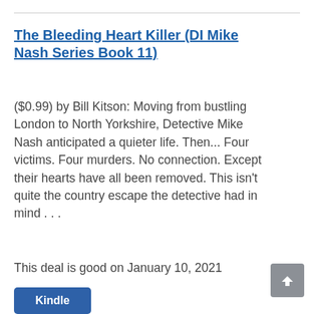The Bleeding Heart Killer (DI Mike Nash Series Book 11)
($0.99) by Bill Kitson: Moving from bustling London to North Yorkshire, Detective Mike Nash anticipated a quieter life. Then... Four victims. Four murders. No connection. Except their hearts have all been removed. This isn’t quite the country escape the detective had in mind . . .
This deal is good on January 10, 2021